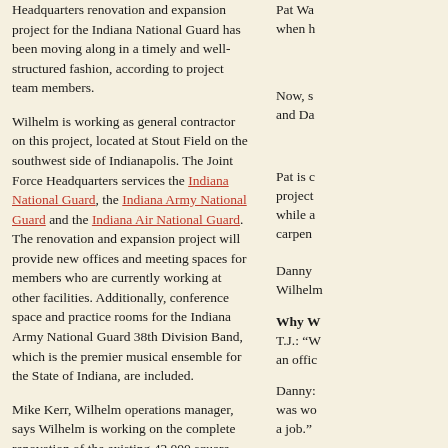Headquarters renovation and expansion project for the Indiana National Guard has been moving along in a timely and well-structured fashion, according to project team members.
Wilhelm is working as general contractor on this project, located at Stout Field on the southwest side of Indianapolis. The Joint Force Headquarters services the Indiana National Guard, the Indiana Army National Guard and the Indiana Air National Guard. The renovation and expansion project will provide new offices and meeting spaces for members who are currently working at other facilities. Additionally, conference space and practice rooms for the Indiana Army National Guard 38th Division Band, which is the premier musical ensemble for the State of Indiana, are included.
Mike Kerr, Wilhelm operations manager, says Wilhelm is working on the complete renovation of the existing 42,000 square-foot administration building and constructing a new 77,000 square-foot office building. Wilhelm will be relocating the existing communications center and renovating a historic air hangar to include new offices as well as renovating the entire site with new roads, parking lots, ponds and landscaping.
In fact, one special feature of this project is that Wilhelm is self-performing its largest earthwork, storm, sanitary and waterline scope of work to date, according to Mitch Davison, project
Pat Wa when h
Now, s and Da
Pat is c project while a carpen
Danny Wilhelm
Why W T.J.: “W an offic
Danny: was wo a job.”
What d Pat: “I l